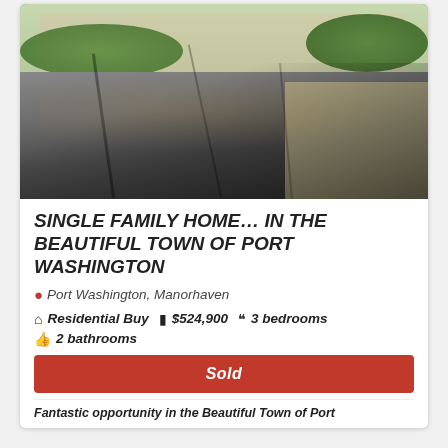[Figure (photo): Outdoor photo of a suburban driveway with tree shadows, fallen leaves, green hedges and shrubs, and a sidewalk visible on the right. Suburban street scene in Port Washington.]
SINGLE FAMILY HOME… IN THE BEAUTIFUL TOWN OF PORT WASHINGTON
Port Washington, Manorhaven
Residential Buy  $524,900  3 bedrooms
2 bathrooms
Sold
Fantastic opportunity in the Beautiful Town of Port